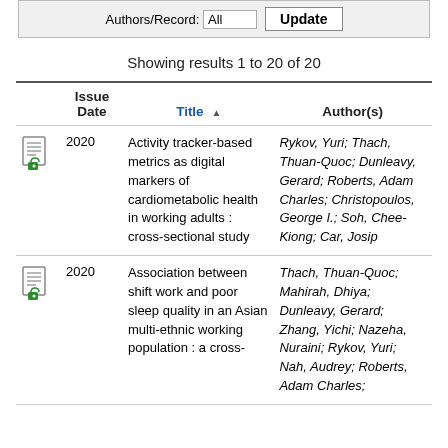Authors/Record: All  Update
Showing results 1 to 20 of 20
|  | Issue Date | Title | Author(s) |
| --- | --- | --- | --- |
| [icon] | 2020 | Activity tracker-based metrics as digital markers of cardiometabolic health in working adults : cross-sectional study | Rykov, Yuri; Thach, Thuan-Quoc; Dunleavy, Gerard; Roberts, Adam Charles; Christopoulos, George I.; Soh, Chee-Kiong; Car, Josip |
| [icon] | 2020 | Association between shift work and poor sleep quality in an Asian multi-ethnic working population : a cross-sectional study | Thach, Thuan-Quoc; Mahirah, Dhiya; Dunleavy, Gerard; Zhang, Yichi; Nazeha, Nuraini; Rykov, Yuri; Nah, Audrey; Roberts, Adam Charles; |